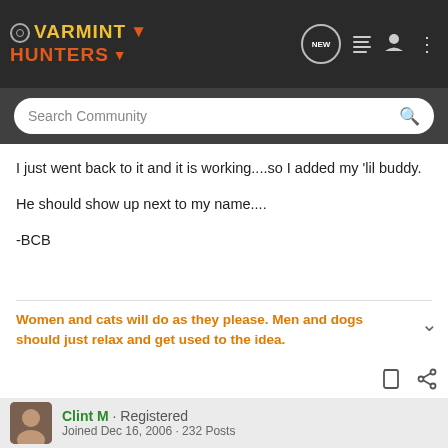VARMINT HUNTERS [navigation bar with search]
I just went back to it and it is working....so I added my 'lil buddy.
He should show up next to my name....
-BCB
Women and cats will do as they please. Men and dogs should just relax and get used to the idea.
Clint M · Registered
Joined Dec 16, 2006 · 232 Posts